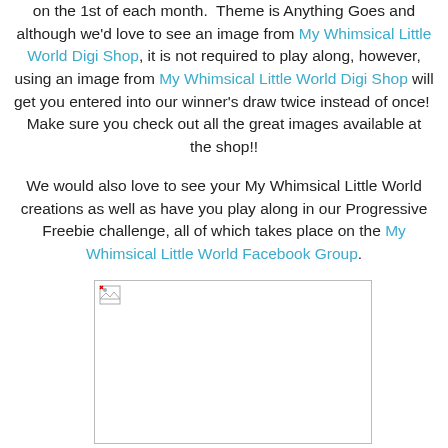on the 1st of each month.  Theme is Anything Goes and although we'd love to see an image from My Whimsical Little World Digi Shop, it is not required to play along, however, using an image from My Whimsical Little World Digi Shop will get you entered into our winner's draw twice instead of once!  Make sure you check out all the great images available at the shop!!
We would also love to see your My Whimsical Little World creations as well as have you play along in our Progressive Freebie challenge, all of which takes place on the My Whimsical Little World Facebook Group.
[Figure (photo): A partially loaded or broken image placeholder inside a light gray bordered rectangle.]